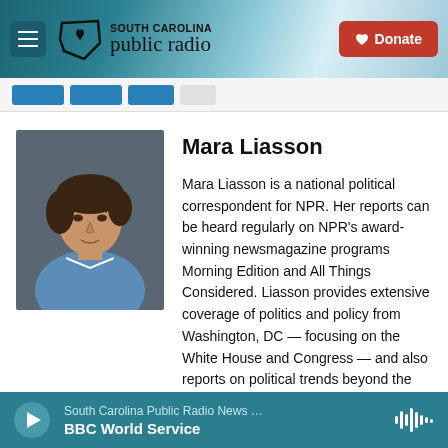South Carolina Public Radio
Mara Liasson
[Figure (photo): Headshot of Mara Liasson, a woman in a blue blazer against a gray background]
Mara Liasson is a national political correspondent for NPR. Her reports can be heard regularly on NPR's award-winning newsmagazine programs Morning Edition and All Things Considered. Liasson provides extensive coverage of politics and policy from Washington, DC — focusing on the White House and Congress — and also reports on political trends beyond the Beltway.
South Carolina Public Radio News … BBC World Service